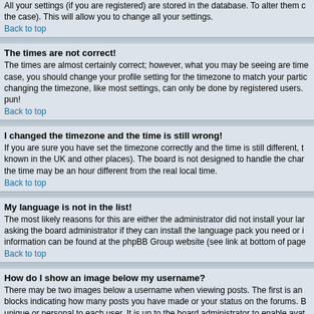All your settings (if you are registered) are stored in the database. To alter them click on the case). This will allow you to change all your settings.
Back to top
The times are not correct!
The times are almost certainly correct; however, what you may be seeing are times displayed in a different timezone from the one you are in. If this is the case, you should change your profile setting for the timezone to match your particular area, e.g. London, Paris, New York, Sydney, etc. Please note that changing the timezone, like most settings, can only be done by registered users. If you are not registered, this is a good time to do so, if you'll pardon the pun!
Back to top
I changed the timezone and the time is still wrong!
If you are sure you have set the timezone correctly and the time is still different, the most likely answer is daylight savings time (or summer time as it is known in the UK and other places). The board is not designed to handle the changeovers between standard and daylight time so during summer months the time may be an hour different from the real local time.
Back to top
My language is not in the list!
The most likely reasons for this are either the administrator did not install your language or nobody has translated this board into your language. Try asking the board administrator if they can install the language pack you need or if it does not exist, please feel free to create a new translation. More information can be found at the phpBB Group website (see link at bottom of pages).
Back to top
How do I show an image below my username?
There may be two images below a username when viewing posts. The first is an image associated with your rank, generally in the form of stars or blocks indicating how many posts you have made or your status on the forums. Below this may be a larger image known as an avatar; this is generally unique or personal to each user. It is up to the board administrator to enable avatars and they have a choice of the way in which avatars can be made available. If you are unable to use avatars then this is the decision of the board administrator and you should ask them their reasons.
Back to top